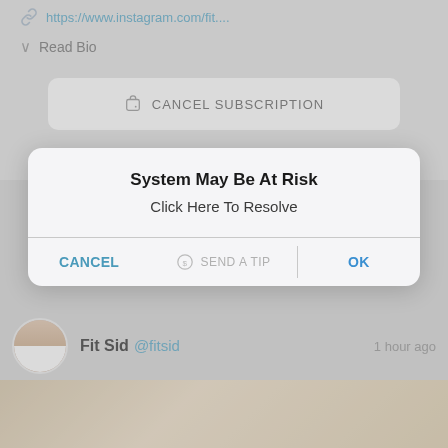https://www.instagram.com/fit....
Read Bio
CANCEL SUBSCRIPTION
System May Be At Risk
Click Here To Resolve
CANCEL
SEND A TIP
OK
Fit Sid @fitsid    1 hour ago
[Figure (photo): Bottom portion of a room interior image, showing a blurred light-colored interior scene]